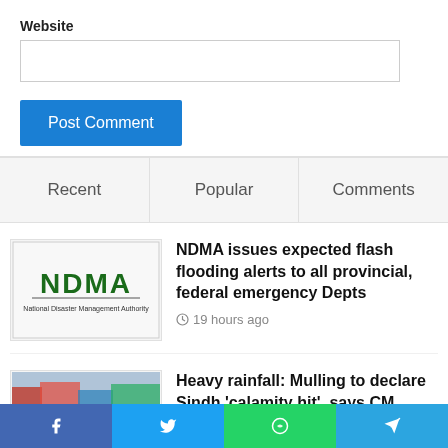Website
(input field)
Post Comment
Recent
Popular
Comments
NDMA issues expected flash flooding alerts to all provincial, federal emergency Depts
19 hours ago
Heavy rainfall: Mulling to declare Sindh 'calamity hit', says CM
19 hours ago